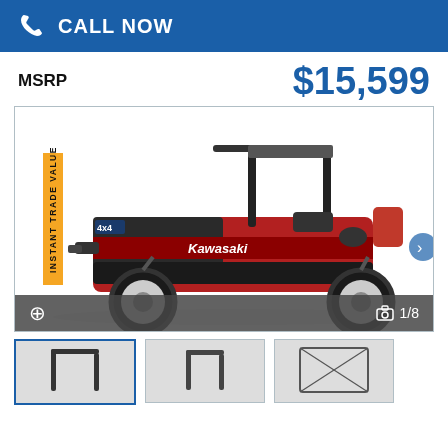CALL NOW
MSRP
$15,599
[Figure (photo): Red and black Kawasaki 4x4 side-by-side UTV / utility vehicle, side profile view. Roll cage visible. Kawasaki branding on the side. Image counter shows 1/8.]
[Figure (photo): Thumbnail image 1 of Kawasaki UTV (roll cage detail)]
[Figure (photo): Thumbnail image 2 of Kawasaki UTV (roll cage detail)]
[Figure (photo): Thumbnail image 3 of Kawasaki UTV (cage/bed detail)]